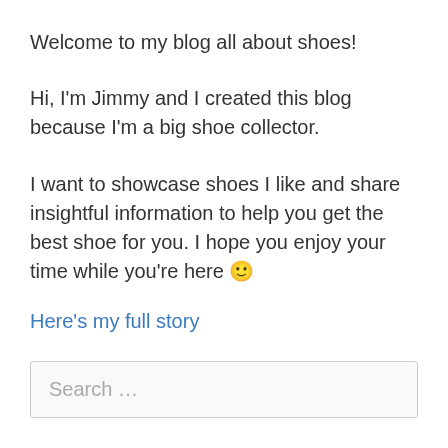Welcome to my blog all about shoes!
Hi, I'm Jimmy and I created this blog because I'm a big shoe collector.
I want to showcase shoes I like and share insightful information to help you get the best shoe for you. I hope you enjoy your time while you're here 🙂
Here's my full story
Search …
Follow Us on Social Media!
Facebook